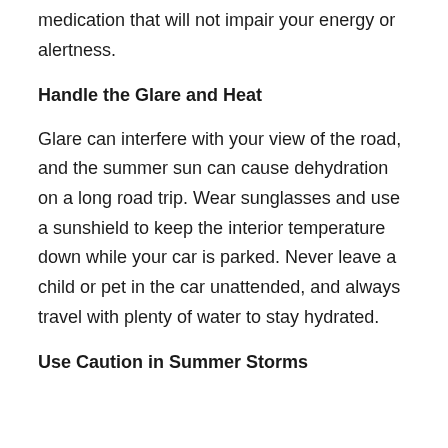medication that will not impair your energy or alertness.
Handle the Glare and Heat
Glare can interfere with your view of the road, and the summer sun can cause dehydration on a long road trip. Wear sunglasses and use a sunshield to keep the interior temperature down while your car is parked. Never leave a child or pet in the car unattended, and always travel with plenty of water to stay hydrated.
Use Caution in Summer Storms